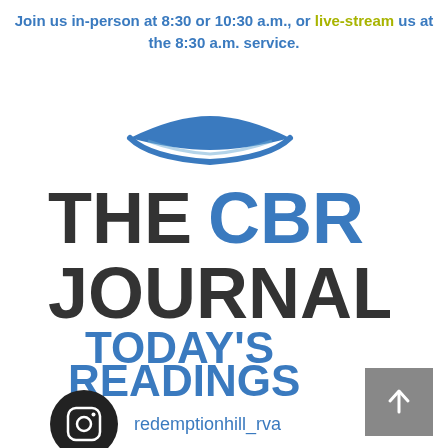Join us in-person at 8:30 or 10:30 a.m., or live-stream us at the 8:30 a.m. service.
[Figure (logo): The CBR Journal - Today's Readings logo with a mortarboard hat icon above the text]
redemptionhill_rva